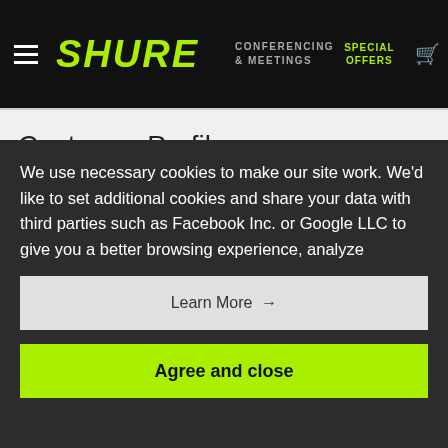SHURE | CONFERENCING & MEETINGS | SPECIAL OFFERS | Cart 0 | Search
Customer Profile
The University of Bedfordshire is a modern, innovative university with a heritage of top
[Figure (logo): University of Bedfordshire logo — red stylized tulip/leaf shape with text 'University of Bedfordshire']
We use necessary cookies to make our site work. We'd like to set additional cookies and share your data with third parties such as Facebook Inc. or Google LLC to give you a better browsing experience, analyze
Learn More →
Agree and close